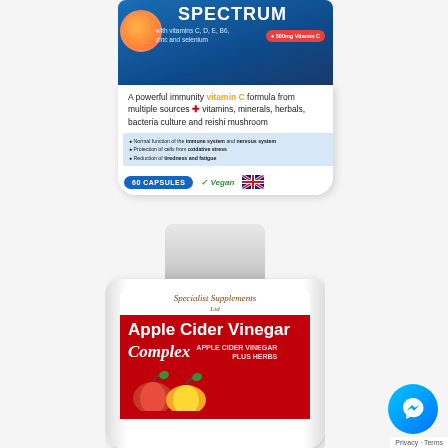[Figure (photo): Spectrum vitamin C supplement bottle with blue header showing 'SPECTRUM with vitamins C, D, E, B6, zinc and selenium', 500mg Vitamin C badge, grapefruit and berry imagery, bullet points about immune system, nervous system, oxidative stress, tiredness and fatigue, 60 Capsules label, Vegan logo, British Company flag]
[Figure (photo): Specialist Supplements Ltd Apple Cider Vinegar Complex bottle with white cap, red label showing 'Apple Cider Vinegar Complex - Apple Cider Vinegar Plus Herbs', with apple imagery at bottom. Messenger chat icon overlay in bottom right corner with Privacy and Terms text.]